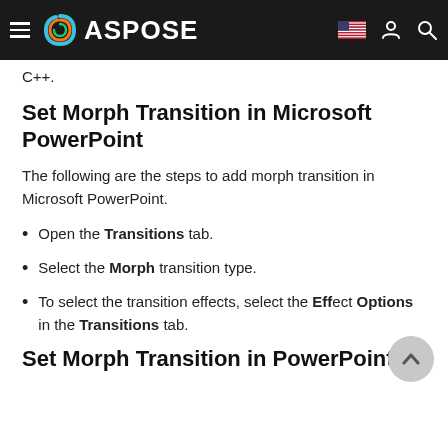ASPOSE
C++.
Set Morph Transition in Microsoft PowerPoint
The following are the steps to add morph transition in Microsoft PowerPoint.
Open the Transitions tab.
Select the Morph transition type.
To select the transition effects, select the Effect Options in the Transitions tab.
Set Morph Transition in PowerPoint